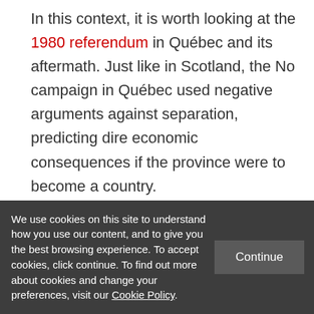In this context, it is worth looking at the 1980 referendum in Québec and its aftermath. Just like in Scotland, the No campaign in Québec used negative arguments against separation, predicting dire economic consequences if the province were to become a country.

And like in Scotland, promises of constitutional renewal were also made. They
We use cookies on this site to understand how you use our content, and to give you the best browsing experience. To accept cookies, click continue. To find out more about cookies and change your preferences, visit our Cookie Policy.